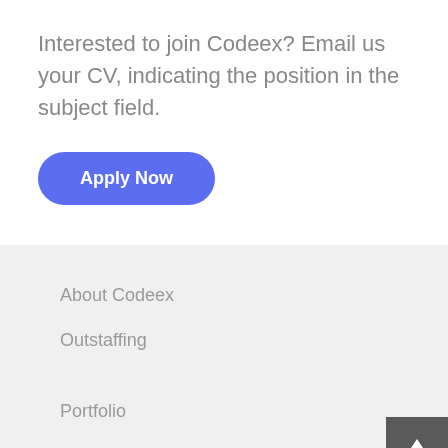Interested to join Codeex? Email us your CV, indicating the position in the subject field.
[Figure (other): Apply Now button — rounded pill-shaped button with blue background (#5b6df0) and white bold text]
About Codeex
Outstaffing
Portfolio
Careers